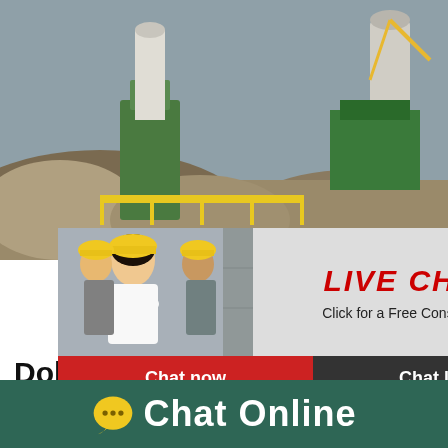[Figure (photo): Mining/quarry site with heavy industrial equipment, green machinery, silos, and rocky terrain in background]
[Figure (screenshot): Live chat popup overlay with workers in yellow hard hats, LIVE CHAT heading in red, 'Click for a Free Consultation' subtitle, Chat now (red) and Chat later (dark) buttons]
[Figure (photo): Right sidebar with cone crusher machine image on blue background with 'hour online' text and 'Click me to chat>>' button]
Dolomi
Used Dolomite Jaw Crusher For Sale In M... Dolomite Jaw Crusher For Sale In Malays... cone crusher for sale in malaysia,our comp... scale heavy enterprise that taking heavy m...
Chat Online